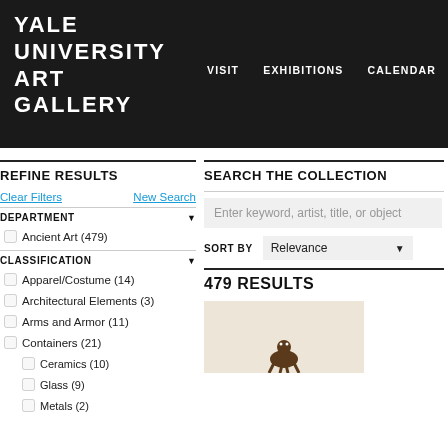YALE UNIVERSITY ART GALLERY
VISIT   EXHIBITIONS   CALENDAR
REFINE RESULTS
Clear Filters   New Search
DEPARTMENT
Ancient Art (479)
CLASSIFICATION
Apparel/Costume (14)
Architectural Elements (3)
Arms and Armor (11)
Containers (21)
Ceramics (10)
Glass (9)
Metals (2)
SEARCH THE COLLECTION
Enter keyword, artist, title, or object
SORT BY   Relevance
479 RESULTS
[Figure (photo): Thumbnail image of an artwork from Yale University Art Gallery collection, shown at the bottom right of the search results.]